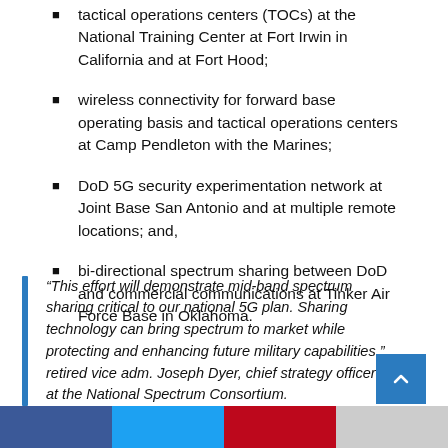tactical operations centers (TOCs) at the National Training Center at Fort Irwin in California and at Fort Hood;
wireless connectivity for forward base operating basis and tactical operations centers at Camp Pendleton with the Marines;
DoD 5G security experimentation network at Joint Base San Antonio and at multiple remote locations; and,
bi-directional spectrum sharing between DoD and commercial communications at Tinker Air Force Base in Oklahoma.
“This effort will demonstrate mid-band spectrum sharing critical to our national 5G plan. Sharing technology can bring spectrum to market while protecting and enhancing future military capabilities,” retired vice adm. Joseph Dyer, chief strategy officer at the National Spectrum Consortium.